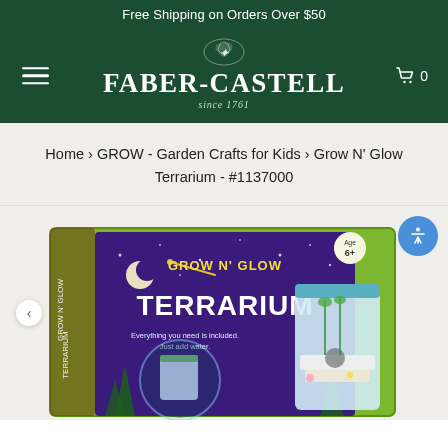Free Shipping on Orders Over $50
[Figure (logo): Faber-Castell logo with emblem and 'since 1761' tagline on dark green header background, with hamburger menu icon on left and shopping cart icon (0 items) on right]
Home › GROW - Garden Crafts for Kids › Grow N' Glow Terrarium - #1137000
[Figure (photo): Grow N' Glow Terrarium product box showing a purple night sky with moon and stars, a glowing terrarium jar with plants and a sloth figurine inside, and text 'GROW N' GLOW TERRARIUM - Everything you need is included. Just add water.' Age 6+ badge visible.]